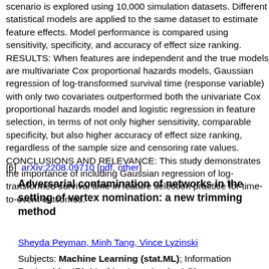scenario is explored using 10,000 simulation datasets. Different statistical models are applied to the same dataset to estimate feature effects. Model performance is compared using sensitivity, specificity, and accuracy of effect size ranking. RESULTS: When features are independent and the true models are multivariate Cox proportional hazards models, Gaussian regression of log-transformed survival time (response variable) with only two covariates outperformed both the univariate Cox proportional hazards model and logistic regression in feature selection, in terms of not only higher sensitivity, comparable specificity, but also higher accuracy of effect size ranking, regardless of the sample size and censoring rate values. CONCLUSIONS AND RELEVANCE: This study demonstrates the importance of including Gaussian regression of log-transformed survival time in feature selection practice for time-to-event outcomes.
[6] arXiv:2208.09710 [pdf, other]
Adversarial contamination of networks in the setting of vertex nomination: a new trimming method
Sheyda Peyman, Minh Tang, Vince Lyzinski
Subjects: Machine Learning (stat.ML); Information Retrieval (cs.IR); Machine Learning (cs.LG)